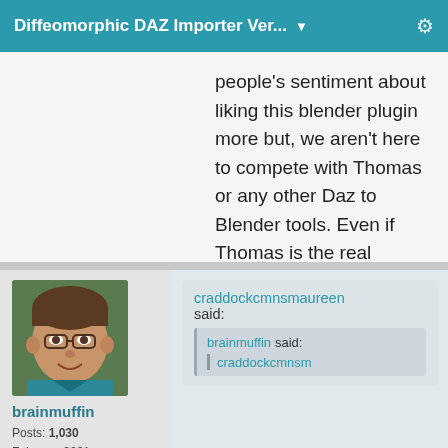Diffeomorphic DAZ Importer Ver... ▼
people's sentiment about liking this blender plugin more but, we aren't here to compete with Thomas or any other Daz to Blender tools. Even if Thomas is the real genius, still thank you for your hard work :)
brainmuffin
Posts: 1,030
February 2021
craddockcmnsmaureen said:
brainmuffin said:
craddockcmnsm